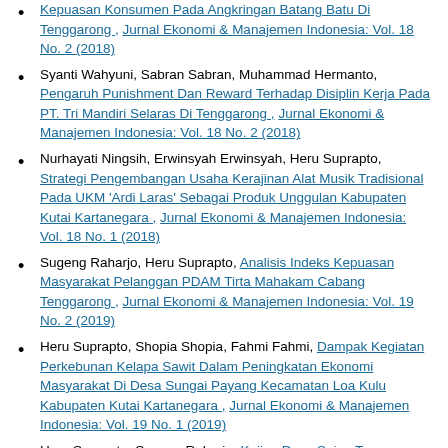Kepuasan Konsumen Pada Angkringan Batang Batu Di Tenggarong , Jurnal Ekonomi & Manajemen Indonesia: Vol. 18 No. 2 (2018)
Syanti Wahyuni, Sabran Sabran, Muhammad Hermanto, Pengaruh Punishment Dan Reward Terhadap Disiplin Kerja Pada PT. Tri Mandiri Selaras Di Tenggarong , Jurnal Ekonomi & Manajemen Indonesia: Vol. 18 No. 2 (2018)
Nurhayati Ningsih, Erwinsyah Erwinsyah, Heru Suprapto, Strategi Pengembangan Usaha Kerajinan Alat Musik Tradisional Pada UKM 'Ardi Laras' Sebagai Produk Unggulan Kabupaten Kutai Kartanegara , Jurnal Ekonomi & Manajemen Indonesia: Vol. 18 No. 1 (2018)
Sugeng Raharjo, Heru Suprapto, Analisis Indeks Kepuasan Masyarakat Pelanggan PDAM Tirta Mahakam Cabang Tenggarong , Jurnal Ekonomi & Manajemen Indonesia: Vol. 19 No. 2 (2019)
Heru Suprapto, Shopia Shopia, Fahmi Fahmi, Dampak Kegiatan Perkebunan Kelapa Sawit Dalam Peningkatan Ekonomi Masyarakat Di Desa Sungai Payang Kecamatan Loa Kulu Kabupaten Kutai Kartanegara , Jurnal Ekonomi & Manajemen Indonesia: Vol. 19 No. 1 (2019)
Heru Suprapto, Sugeng Raharjo, Kajian Daya Saing Tenaga Kerja Lokal Di Kabupaten Kutai Kartanegara